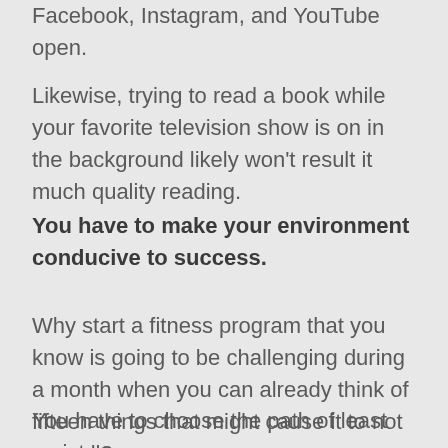Facebook, Instagram, and YouTube open.
Likewise, trying to read a book while your favorite television show is on in the background likely won't result it much quality reading.
You have to make your environment conducive to success.
Why start a fitness program that you know is going to be challenging during a month when you can already think of fifteen things that might cause it to not go well?
You have to choose the path of least resistance.